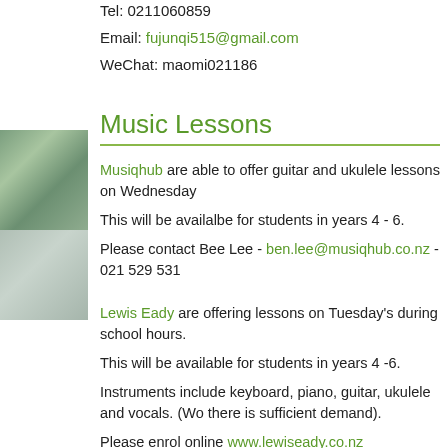Tel: 0211060859
Email: fujunqi515@gmail.com
WeChat: maomi021186
Music Lessons
Musiqhub are able to offer guitar and ukulele lessons on Wednesday
This will be availalbe for students in years 4 - 6.
Please contact Bee Lee - ben.lee@musiqhub.co.nz - 021 529 531
Lewis Eady are offering lessons on Tuesday's during school hours.
This will be available for students in years 4 -6.
Instruments include keyboard, piano, guitar, ukulele and vocals. (Wo there is sufficient demand).
Please enrol online www.lewiseady.co.nz